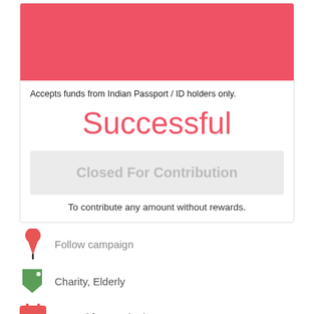[Figure (other): Red/pink banner at top of card]
Accepts funds from Indian Passport / ID holders only.
Successful
Closed For Contribution
To contribute any amount without rewards.
Follow campaign
Charity, Elderly
Started from 17/06/2022